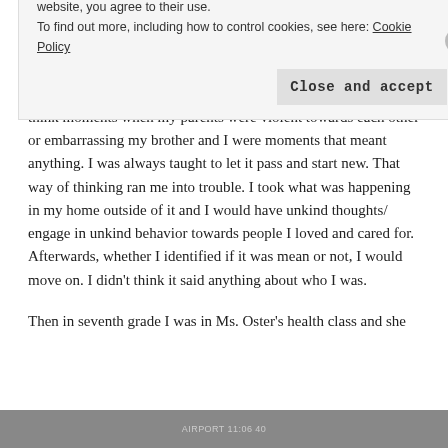a contorted way of thinking.
At this time I also felt that the person I was defined by was my home life and my immediate family. I felt this way yet I didn't think moments when my parents were violent towards each other or embarrassing my brother and I were moments that meant anything. I was always taught to let it pass and start new. That way of thinking ran me into trouble. I took what was happening in my home outside of it and I would have unkind thoughts/ engage in unkind behavior towards people I loved and cared for. Afterwards, whether I identified if it was mean or not, I would move on. I didn't think it said anything about who I was.
Then in seventh grade I was in Ms. Oster's health class and she
Privacy & Cookies: This site uses cookies. By continuing to use this website, you agree to their use.
To find out more, including how to control cookies, see here: Cookie Policy
Close and accept